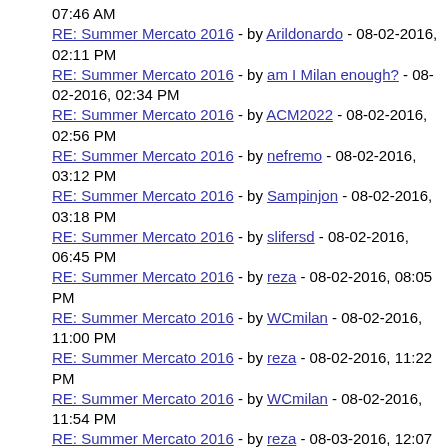07:46 AM
RE: Summer Mercato 2016 - by Arildonardo - 08-02-2016, 02:11 PM
RE: Summer Mercato 2016 - by am I Milan enough? - 08-02-2016, 02:34 PM
RE: Summer Mercato 2016 - by ACM2022 - 08-02-2016, 02:56 PM
RE: Summer Mercato 2016 - by nefremo - 08-02-2016, 03:12 PM
RE: Summer Mercato 2016 - by Sampinjon - 08-02-2016, 03:18 PM
RE: Summer Mercato 2016 - by slifersd - 08-02-2016, 06:45 PM
RE: Summer Mercato 2016 - by reza - 08-02-2016, 08:05 PM
RE: Summer Mercato 2016 - by WCmilan - 08-02-2016, 11:00 PM
RE: Summer Mercato 2016 - by reza - 08-02-2016, 11:22 PM
RE: Summer Mercato 2016 - by WCmilan - 08-02-2016, 11:54 PM
RE: Summer Mercato 2016 - by reza - 08-03-2016, 12:07 AM
RE: Summer Mercato 2016 - by WCmilan - 08-03-2016, 02:00 AM
RE: Summer Mercato 2016 - by porcho - 08-03-2016, 12:51 AM
RE: Summer Mercato 2016 - by am I Milan enough? - 08-03-